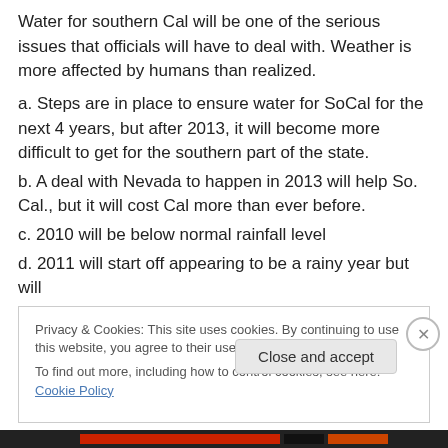Water for southern Cal will be one of the serious issues that officials will have to deal with. Weather is more affected by humans than realized.
a. Steps are in place to ensure water for SoCal for the next 4 years, but after 2013, it will become more difficult to get for the southern part of the state.
b. A deal with Nevada to happen in 2013 will help So. Cal., but it will cost Cal more than ever before.
c. 2010 will be below normal rainfall level
d. 2011 will start off appearing to be a rainy year but will
Privacy & Cookies: This site uses cookies. By continuing to use this website, you agree to their use.
To find out more, including how to control cookies, see here: Cookie Policy
Close and accept